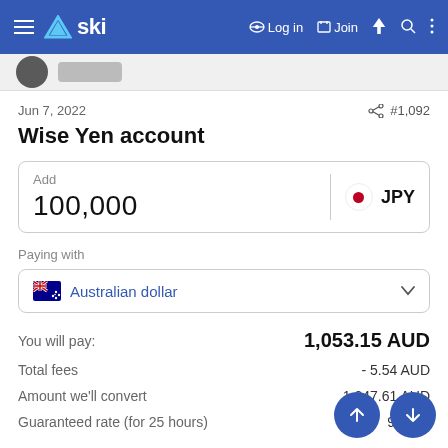ski — Log in  Join
Jun 7, 2022  #1,092
Wise Yen account
Add  100,000  JPY
Paying with  Australian dollar
You will pay:  1,053.15 AUD
Total fees  - 5.54 AUD
Amount we'll convert  1,047.61 AUD
Guaranteed rate (for 25 hours)  95.455